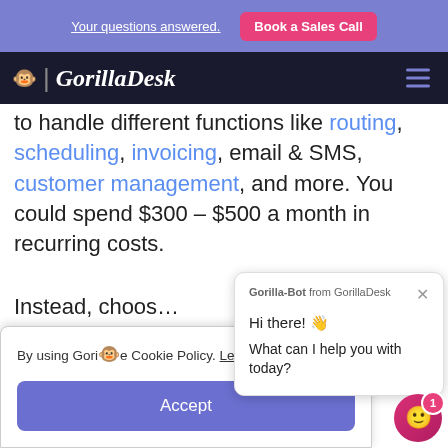Your questions answered. | Book a Sales Call
GorilllaDesk
to handle different functions like routing, scheduling, invoicing, email & SMS, customer management, and more. You could spend $300 – $500 a month in recurring costs.
Instead, choos...
By using Gorilla... Cookie Policy. Learn more
Accept
[Figure (screenshot): Chat popup from GorillaDesk: Gorilla-Bot from GorilllaDesk header with close button. Hi there! wave emoji. What can I help you with today?]
hat
[Figure (other): Pink circular chat button with smiley face icon and red badge showing 1]